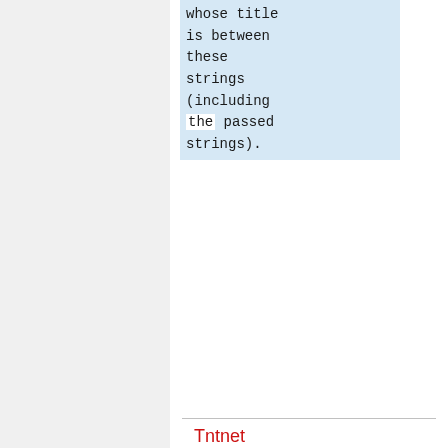whose title is between these strings (including the passed strings).
Tntnet
BUREAUCRATS, ADMINISTRATORS